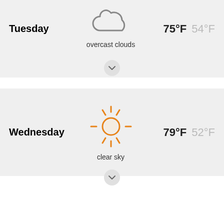Tuesday
[Figure (illustration): Cloud icon (overcast clouds) in gray outline style]
75°F  54°F
overcast clouds
Wednesday
[Figure (illustration): Sun icon (clear sky) in orange color with rays]
79°F  52°F
clear sky